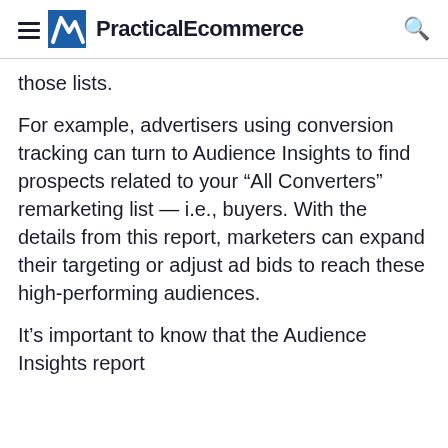PracticalEcommerce
those lists.
For example, advertisers using conversion tracking can turn to Audience Insights to find prospects related to your “All Converters” remarketing list — i.e., buyers. With the details from this report, marketers can expand their targeting or adjust ad bids to reach these high-performing audiences.
It’s important to know that the Audience Insights report